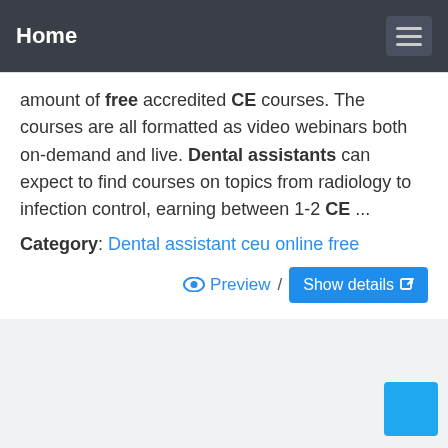Home
amount of free accredited CE courses. The courses are all formatted as video webinars both on-demand and live. Dental assistants can expect to find courses on topics from radiology to infection control, earning between 1-2 CE ...
Category: Dental assistant ceu online free
Preview / Show details